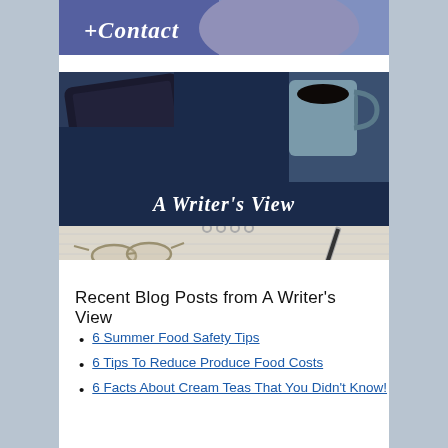[Figure (photo): Partial top image showing '+Contact' text overlay on a blue fuzzy background, person visible.]
[Figure (photo): A Writer's View blog banner image showing a tablet, blue mug of coffee, glasses, pen, and notebook on a blue background with dark banner reading 'A Writer's View' in italic white text.]
Recent Blog Posts from A Writer's View
6 Summer Food Safety Tips
6 Tips To Reduce Produce Food Costs
6 Facts About Cream Teas That You Didn't Know!